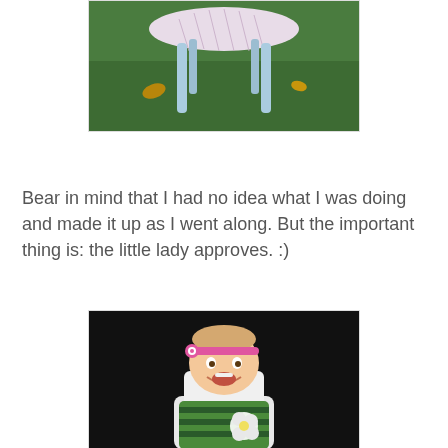[Figure (photo): A small stool or footstool with patterned fabric top and light blue painted spindle legs, sitting on green grass outdoors.]
Bear in mind that I had no idea what I was doing and made it up as I went along. But the important thing is: the little lady approves. :)
[Figure (photo): A smiling baby with a pink headband sitting in a white high chair against a dark background, holding a white flower.]